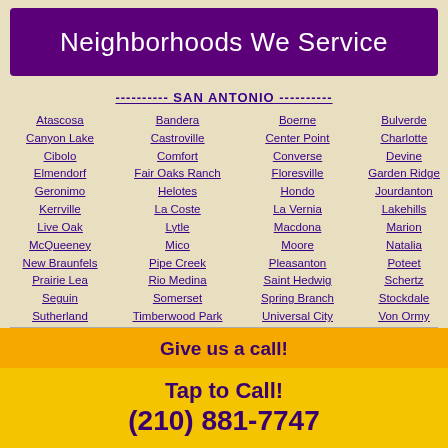Neighborhoods We Service
---------- SAN ANTONIO ----------
Atascosa
Bandera
Boerne
Bulverde
Canyon Lake
Castroville
Center Point
Charlotte
Cibolo
Comfort
Converse
Devine
Elmendorf
Fair Oaks Ranch
Floresville
Garden Ridge
Geronimo
Helotes
Hondo
Jourdanton
Kerrville
La Coste
La Vernia
Lakehills
Live Oak
Lytle
Macdona
Marion
McQueeney
Mico
Moore
Natalia
New Braunfels
Pipe Creek
Pleasanton
Poteet
Prairie Lea
Rio Medina
Saint Hedwig
Schertz
Seguin
Somerset
Spring Branch
Stockdale
Sutherland Springs
Timberwood Park
Universal City
Von Ormy
Windcrest
Give us a call!
Tap to Call!
(210) 881-7747